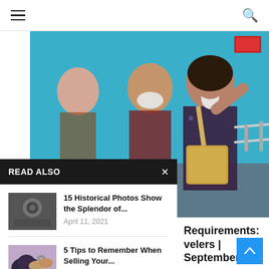Navigation header with hamburger menu and search icon
[Figure (photo): People wearing face masks at what appears to be an airport or public transit facility with teal/blue walls. Two women with masks and bags are prominent in the foreground.]
READ ALSO
[Figure (photo): Black and white historical photo thumbnail]
15 Historical Photos Show the Splendor of...
April 11, 2021
[Figure (photo): Hands holding car keys over a steering wheel]
5 Tips to Remember When Selling Your...
January 31, 2021
[Figure (photo): Underwater scene with divers]
New World Record by Walid Boudhiaf in...
January 18, 2021
Requirements: velers | September